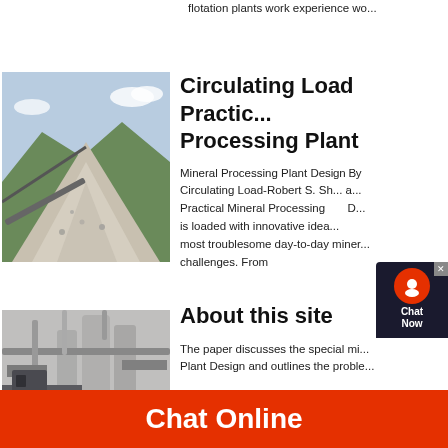flotation plants work experience wo...
[Figure (photo): Pile of crushed gravel/aggregate material at a mineral processing plant with a conveyor belt visible and mountains in background]
Circulating Load Practi... Processing Plant
Mineral Processing Plant Design By Circulating Load-Robert S. Sh... a... Practical Mineral Processing D... is loaded with innovative idea... most troublesome day-to-day miner... challenges. From
[Figure (photo): Industrial mineral processing plant equipment showing pipes, ducts, and machinery]
About this site
The paper discusses the special mi... Plant Design and outlines the proble...
Chat Online